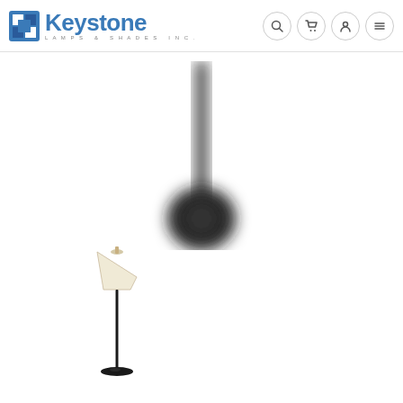[Figure (logo): Keystone Lamps & Shades Inc. logo with blue square icon and company name]
[Figure (photo): Blurred close-up of a dark pendant/floor lamp stem and rounded base, shown partially from above]
[Figure (photo): Small floor lamp with cream lampshade and dark metal pole and circular base]